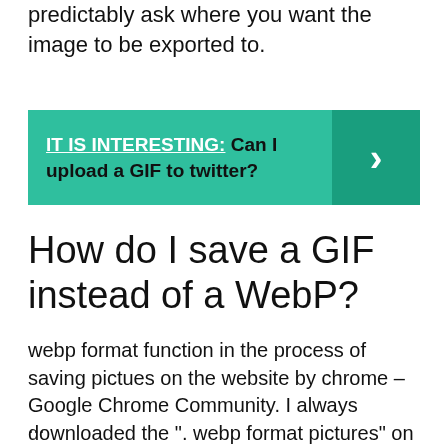predictably ask where you want the image to be exported to.
[Figure (infographic): Teal banner with text 'IT IS INTERESTING: Can I upload a GIF to twitter?' and a right-arrow chevron on a darker teal background on the right side.]
How do I save a GIF instead of a WebP?
webp format function in the process of saving pictues on the website by chrome – Google Chrome Community. I always downloaded the ". webp format pictures" on chrome browser.
...